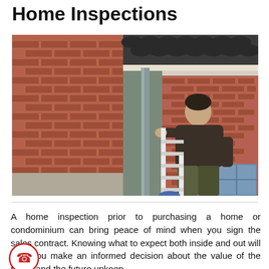Home Inspections
[Figure (photo): A person climbing a ladder to inspect the exterior brick wall and gutters/downspout of a house, with roof tiles visible above.]
A home inspection prior to purchasing a home or condominium can bring peace of mind when you sign the sales contract. Knowing what to expect both inside and out will help you make an informed decision about the value of the home and the future upkeep.